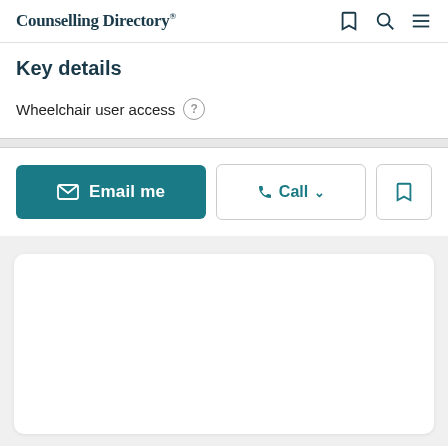Counselling Directory
Key details
Wheelchair user access ?
[Figure (screenshot): Action buttons: Email me (teal), Call (with dropdown chevron), and bookmark icon button]
[Figure (screenshot): White rounded card on gray background, content not visible]